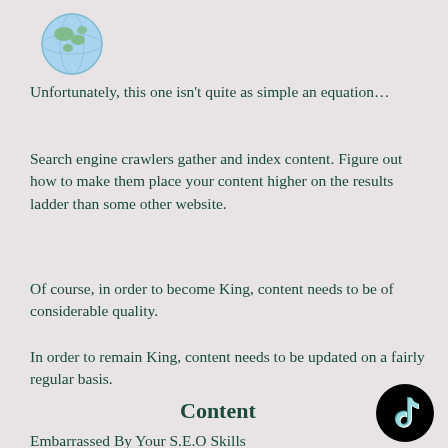[Figure (illustration): Globe emoji icon showing Earth with blue oceans and landmasses, positioned top left]
Unfortunately, this one isn't quite as simple an equation…
Search engine crawlers gather and index content. Figure out how to make them place your content higher on the results ladder than some other website.
Of course, in order to become King, content needs to be of considerable quality.
In order to remain King, content needs to be updated on a fairly regular basis.
Content
[Figure (logo): TikTok logo — black circle with TikTok musical note icon in white/cyan/red]
Embarrassed By Your S.E.O Skills